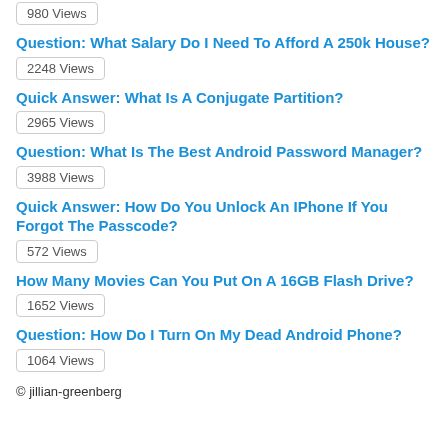980 Views
Question: What Salary Do I Need To Afford A 250k House?
2248 Views
Quick Answer: What Is A Conjugate Partition?
2965 Views
Question: What Is The Best Android Password Manager?
3988 Views
Quick Answer: How Do You Unlock An IPhone If You Forgot The Passcode?
572 Views
How Many Movies Can You Put On A 16GB Flash Drive?
1652 Views
Question: How Do I Turn On My Dead Android Phone?
1064 Views
© jillian-greenberg